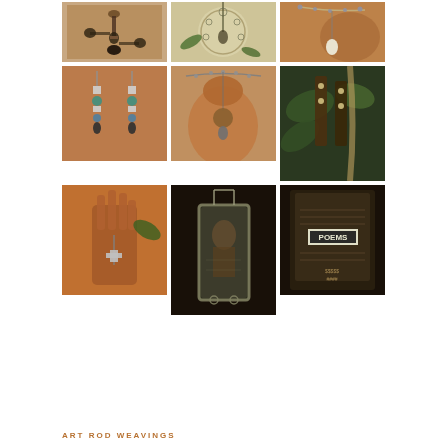[Figure (photo): Grid of 9 jewelry product photos showing necklaces, earrings, and pendants displayed on terracotta vases, wooden hands, and natural backgrounds. Jewelry pieces include beaded necklaces, dangle earrings with turquoise and silver beads, elongated wood and metal pendants, and a POEMS-labeled pendant.]
ART ROD WEAVINGS